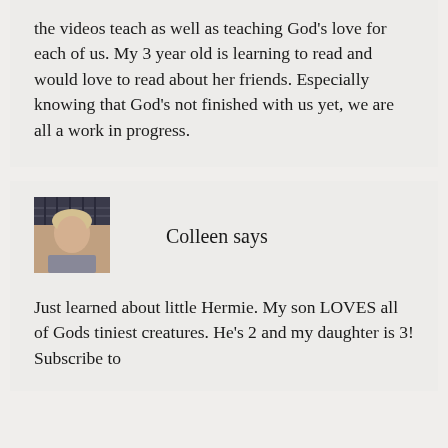the videos teach as well as teaching God's love for each of us. My 3 year old is learning to read and would love to read about her friends. Especially knowing that God's not finished with us yet, we are all a work in progress.
[Figure (photo): Avatar photo of a woman named Colleen]
Colleen says
Just learned about little Hermie. My son LOVES all of Gods tiniest creatures. He's 2 and my daughter is 3! Subscribe to